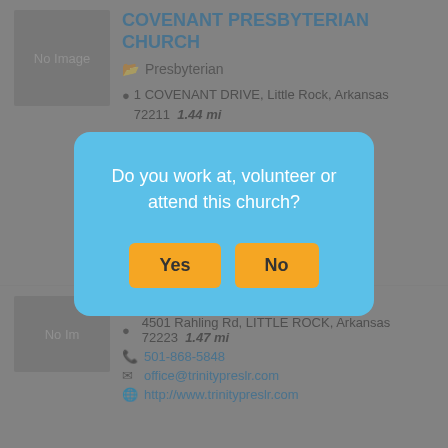COVENANT PRESBYTERIAN CHURCH
Presbyterian
1 COVENANT DRIVE, Little Rock, Arkansas 72211  1.44 mi
[Figure (screenshot): Modal dialog overlay on a church directory listing page asking 'Do you work at, volunteer or attend this church?' with Yes and No buttons]
Evangelical
4501 Rahling Rd, LITTLE ROCK, Arkansas 72223  1.47 mi
501-868-5848
office@trinitypreslr.com
http://www.trinitypreslr.com